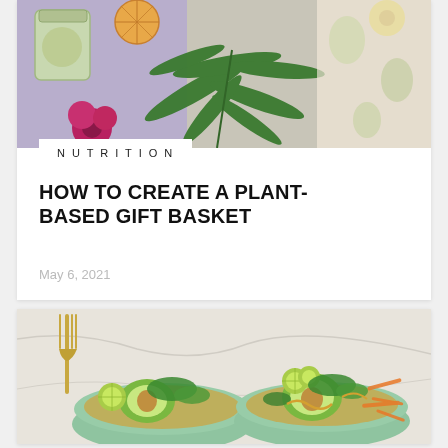[Figure (photo): Overhead view of a gift basket with dried orange slices, a mason jar, green fern leaves, a deep pink flower, and decorative fabric on a light background.]
NUTRITION
HOW TO CREATE A PLANT-BASED GIFT BASKET
May 6, 2021
[Figure (photo): Two green bowls filled with grain bowls topped with avocado halves, lime slices, shredded carrots, fresh herbs, and a golden sauce, with a gold fork on a marble surface in the background.]